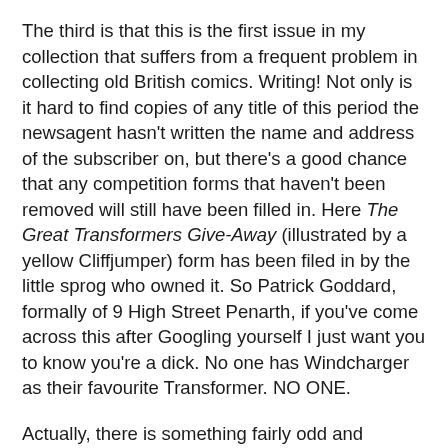The third is that this is the first issue in my collection that suffers from a frequent problem in collecting old British comics. Writing! Not only is it hard to find copies of any title of this period the newsagent hasn't written the name and address of the subscriber on, but there's a good chance that any competition forms that haven't been removed will still have been filled in. Here The Great Transformers Give-Away (illustrated by a yellow Cliffjumper) form has been filed in by the little sprog who owned it. So Patrick Goddard, formally of 9 High Street Penarth, if you've come across this after Googling yourself I just want you to know you're a dick. No one has Windcharger as their favourite Transformer. NO ONE.
Actually, there is something fairly odd and stalkerish about being able to find out peoples addresses and interests from close to 30 years ago isn't there? No wonder so many fans are maladjusted (though of course it goes without saying that the comic itself is amazing)